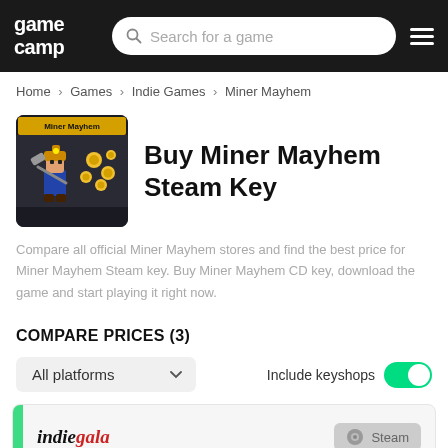game camp — Search for a game
Home > Games > Indie Games > Miner Mayhem
[Figure (screenshot): Miner Mayhem game thumbnail showing pixel-art miner character with pickaxe and gold coins in dark cave]
Buy Miner Mayhem Steam Key
Compare all official Miner Mayhem stores and find the best price for Miner Mayhem Steam key. Buy Miner Mayhem CD key, download the game and start playing it right now.
COMPARE PRICES (3)
All platforms — Include keyshops (toggle on)
indiegala — Steam